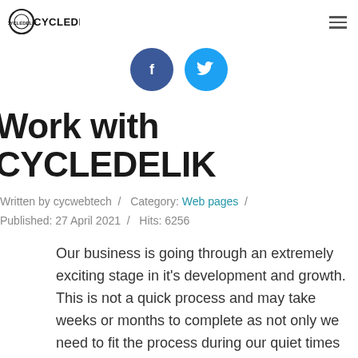CYCLEDELIK logo and hamburger menu
[Figure (other): Social media icons: Facebook (dark blue circle with 'f') and Twitter (light blue circle with bird icon)]
Work with CYCLEDELIK
Written by cycwebtech / Category: Web pages / Published: 27 April 2021 / Hits: 6256
Our business is going through an extremely exciting stage in it's development and growth. This is not a quick process and may take weeks or months to complete as not only we need to fit the process during our quiet times but we need to also find the right candidate for the job.